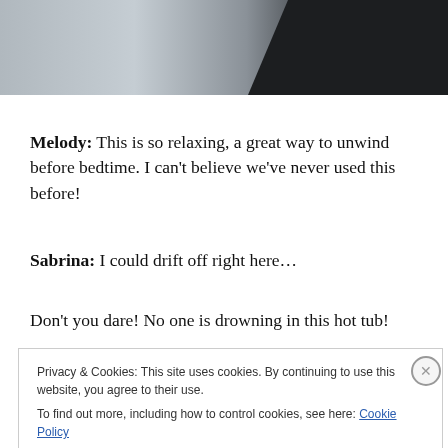[Figure (photo): Partial photograph showing a sky and dark background, cropped at top of page]
Melody: This is so relaxing, a great way to unwind before bedtime. I can't believe we've never used this before!
Sabrina: I could drift off right here…
Don't you dare! No one is drowning in this hot tub!
Privacy & Cookies: This site uses cookies. By continuing to use this website, you agree to their use.
To find out more, including how to control cookies, see here: Cookie Policy